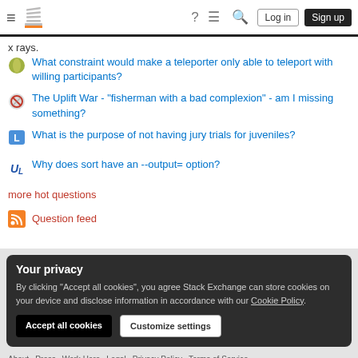Stack Exchange navigation bar with Log in and Sign up buttons
x rays.
What constraint would make a teleporter only able to teleport with willing participants?
The Uplift War - "fisherman with a bad complexion" - am I missing something?
What is the purpose of not having jury trials for juveniles?
Why does sort have an --output= option?
more hot questions
Question feed
Your privacy
By clicking "Accept all cookies", you agree Stack Exchange can store cookies on your device and disclose information in accordance with our Cookie Policy.
Accept all cookies   Customize settings
About   Press   Work Here   Legal   Privacy Policy   Terms of Service